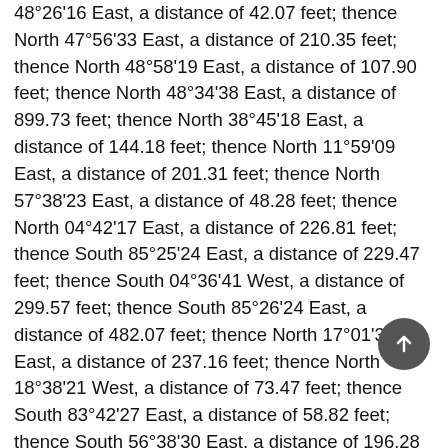48°26'16 East, a distance of 42.07 feet; thence North 47°56'33 East, a distance of 210.35 feet; thence North 48°58'19 East, a distance of 107.90 feet; thence North 48°34'38 East, a distance of 899.73 feet; thence North 38°45'18 East, a distance of 144.18 feet; thence North 11°59'09 East, a distance of 201.31 feet; thence North 57°38'23 East, a distance of 48.28 feet; thence North 04°42'17 East, a distance of 226.81 feet; thence South 85°25'24 East, a distance of 229.47 feet; thence South 04°36'41 West, a distance of 299.57 feet; thence South 85°26'24 East, a distance of 482.07 feet; thence North 17°01'39 East, a distance of 237.16 feet; thence North 18°38'21 West, a distance of 73.47 feet; thence South 83°42'27 East, a distance of 58.82 feet; thence South 56°38'30 East, a distance of 196.28 feet; thence South 53°24'32 East, a distance of 215.53 feet; thence South 47°28'44 East, a distance of 103.45 feet; thence South 32°36'52 East, a distance of 120.10 feet; thence South 15°24'33 East, a distance of 43.71 feet; thence South